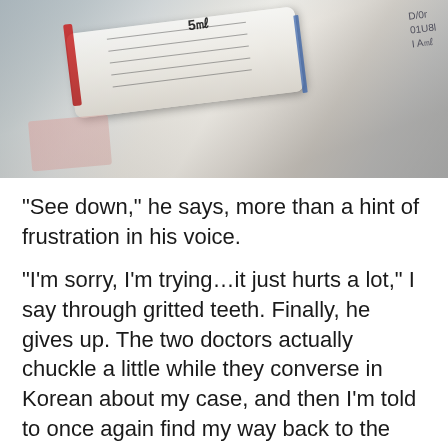[Figure (photo): Close-up photo of a medical syringe or IV tube in plastic packaging, with Korean text labels and measurement markings showing 5mL, red and blue stripes visible on the packaging.]
“See down,” he says, more than a hint of frustration in his voice.
“I’m sorry, I’m trying…it just hurts a lot,” I say through gritted teeth. Finally, he gives up. The two doctors actually chuckle a little while they converse in Korean about my case, and then I’m told to once again find my way back to the ER.